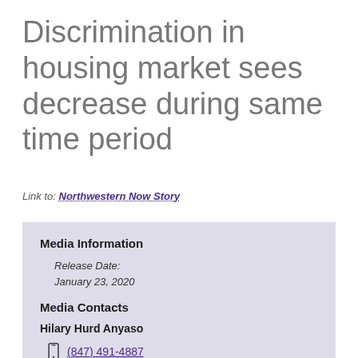Discrimination in housing market sees decrease during same time period
Link to: Northwestern Now Story
Media Information
Release Date:
January 23, 2020
Media Contacts
Hilary Hurd Anyaso
(847) 491-4887